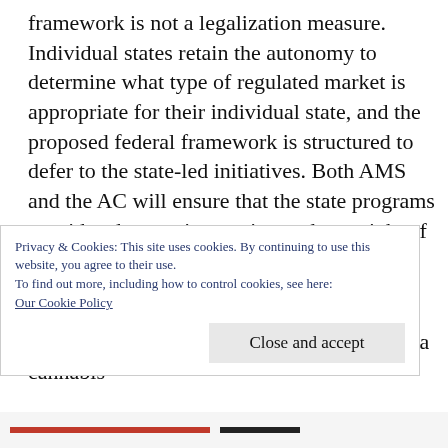framework is not a legalization measure. Individual states retain the autonomy to determine what type of regulated market is appropriate for their individual state, and the proposed federal framework is structured to defer to the state-led initiatives. Both AMS and the AC will ensure that the state programs provide adequate instruction and oversight of cannabis-based products.
If a state does not have a regulatory framework that provides a pathway to bring a cannabis-
Privacy & Cookies: This site uses cookies. By continuing to use this website, you agree to their use.
To find out more, including how to control cookies, see here:
Our Cookie Policy
Close and accept